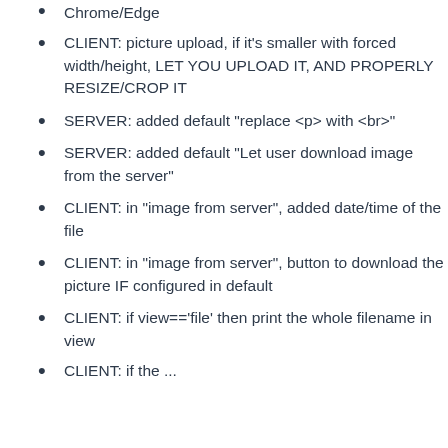Chrome/Edge
CLIENT: picture upload, if it's smaller with forced width/height, LET YOU UPLOAD IT, AND PROPERLY RESIZE/CROP IT
SERVER: added default "replace <p> with <br>"
SERVER: added default "Let user download image from the server"
CLIENT: in "image from server", added date/time of the file
CLIENT: in "image from server", button to download the picture IF configured in default
CLIENT: if view=='file' then print the whole filename in view
CLIENT: if the ...